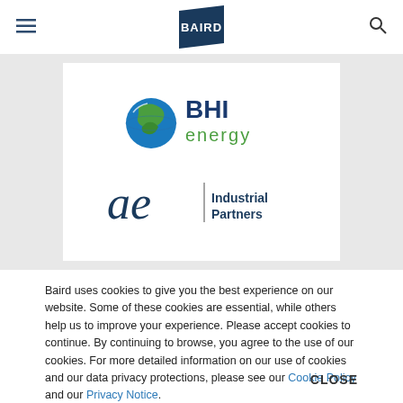BAIRD
[Figure (logo): BHI Energy logo with globe icon and company name]
[Figure (logo): ae Industrial Partners logo]
Baird uses cookies to give you the best experience on our website. Some of these cookies are essential, while others help us to improve your experience. Please accept cookies to continue. By continuing to browse, you agree to the use of our cookies. For more detailed information on our use of cookies and our data privacy protections, please see our Cookie Policy and our Privacy Notice.
CLOSE